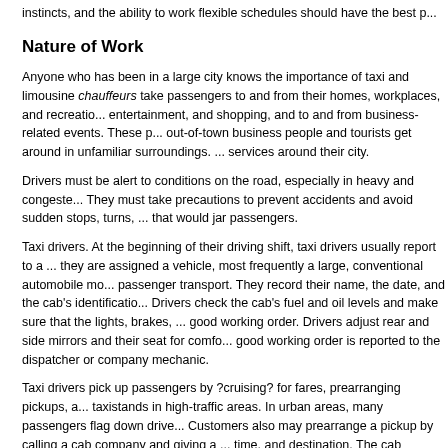instincts, and the ability to work flexible schedules should have the best p...
Nature of Work
Anyone who has been in a large city knows the importance of taxi and limousine chauffeurs take passengers to and from their homes, workplaces, and recreation, entertainment, and shopping, and to and from business-related events. These p... out-of-town business people and tourists get around in unfamiliar surroundings. ... services around their city.
Drivers must be alert to conditions on the road, especially in heavy and congeste... They must take precautions to prevent accidents and avoid sudden stops, turns, ... that would jar passengers.
Taxi drivers. At the beginning of their driving shift, taxi drivers usually report to a ... they are assigned a vehicle, most frequently a large, conventional automobile m... passenger transport. They record their name, the date, and the cab's identificatio... Drivers check the cab's fuel and oil levels and make sure that the lights, brakes, ... good working order. Drivers adjust rear and side mirrors and their seat for comfo... good working order is reported to the dispatcher or company mechanic.
Taxi drivers pick up passengers by ?cruising? for fares, prearranging pickups, a... taxistands in high-traffic areas. In urban areas, many passengers flag down drive... Customers also may prearrange a pickup by calling a cab company and giving a ... time, and destination. The cab company dispatcher then relays the information to ... cellular telephone, or onboard computer. Outside of urban areas, the majority o...